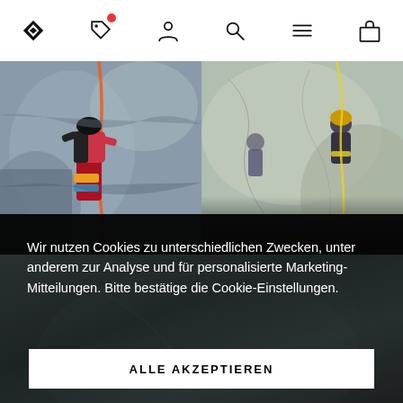[Figure (screenshot): Navigation bar with Black Diamond logo, tag icon with red badge, person icon, search icon, hamburger menu icon, shopping bag icon]
[Figure (photo): Two-panel hero image showing rock climbers on a cliff face — left panel shows climber in red pants with gear, right panel shows climbers on grey rock face]
Wir nutzen Cookies zu unterschiedlichen Zwecken, unter anderem zur Analyse und für personalisierte Marketing-Mitteilungen. Bitte bestätige die Cookie-Einstellungen.
ALLE AKZEPTIEREN
NUR AUSWAHL AKZEPTIEREN
✓ Notwendige   ☐ Preferenzen   ☐ Statistik   >
☐ Marketing